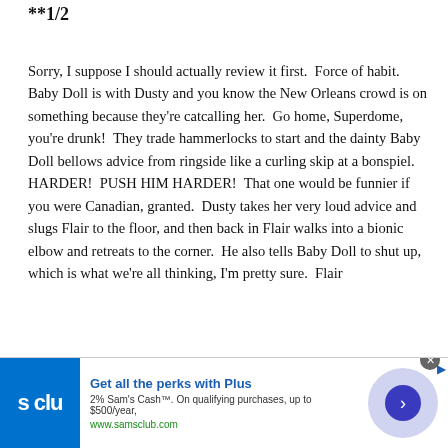**1/2
Sorry, I suppose I should actually review it first.  Force of habit.  Baby Doll is with Dusty and you know the New Orleans crowd is on something because they're catcalling her.  Go home, Superdome, you're drunk!  They trade hammerlocks to start and the dainty Baby Doll bellows advice from ringside like a curling skip at a bonspiel.  HARDER!  PUSH HIM HARDER!  That one would be funnier if you were Canadian, granted.  Dusty takes her very loud advice and slugs Flair to the floor, and then back in Flair walks into a bionic elbow and retreats to the corner.  He also tells Baby Doll to shut up, which is what we're all thinking, I'm pretty sure.  Flair
[Figure (infographic): Sam's Club advertisement banner: blue logo with 's clu' text, headline 'Get all the perks with Plus', subtext '2% Sam's Cash™. On qualifying purchases, up to $500/year,' and URL 'www.samsclub.com', with a circular arrow button on the right and a close X button.]